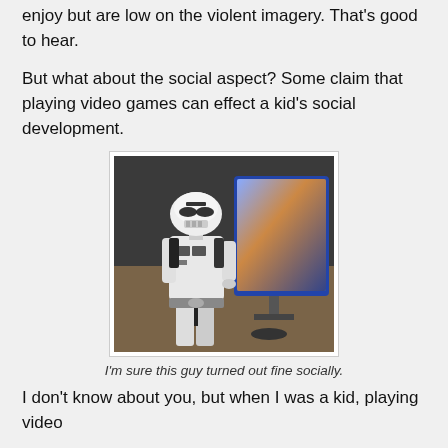enjoy but are low on the violent imagery. That's good to hear.
But what about the social aspect? Some claim that playing video games can effect a kid's social development.
[Figure (photo): A person dressed in a Star Wars Stormtrooper costume standing and playing a video game on a large monitor/screen, holding a game controller.]
I'm sure this guy turned out fine socially.
I don't know about you, but when I was a kid, playing video